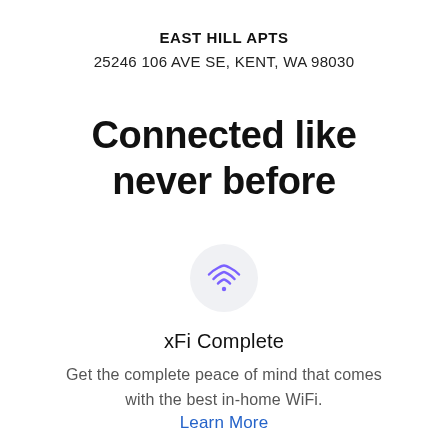EAST HILL APTS
25246 106 AVE SE, KENT, WA 98030
Connected like never before
[Figure (illustration): WiFi signal icon inside a light gray circle]
xFi Complete
Get the complete peace of mind that comes with the best in-home WiFi.
Learn More